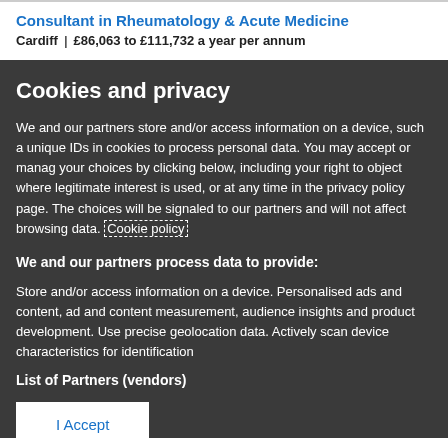Consultant in Rheumatology & Acute Medicine
Cardiff  |  £86,063 to £111,732 a year per annum
Cookies and privacy
We and our partners store and/or access information on a device, such as unique IDs in cookies to process personal data. You may accept or manage your choices by clicking below, including your right to object where legitimate interest is used, or at any time in the privacy policy page. These choices will be signaled to our partners and will not affect browsing data. Cookie policy
We and our partners process data to provide:
Store and/or access information on a device. Personalised ads and content, ad and content measurement, audience insights and product development. Use precise geolocation data. Actively scan device characteristics for identification
List of Partners (vendors)
I Accept